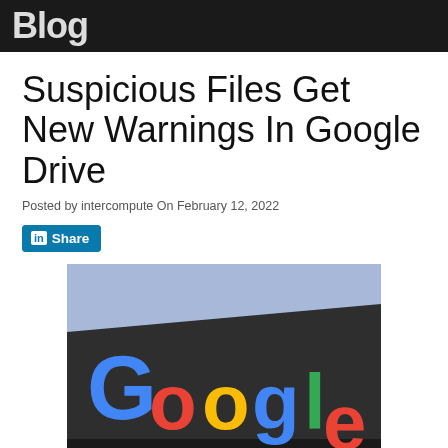Blog
Suspicious Files Get New Warnings In Google Drive
Posted by intercompute On February 12, 2022
[Figure (screenshot): LinkedIn Share button with blue background and white text]
[Figure (photo): Google logo sign on dark building facade with blue sky background]